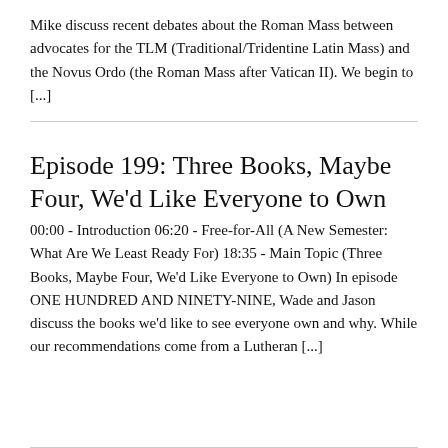Mike discuss recent debates about the Roman Mass between advocates for the TLM (Traditional/Tridentine Latin Mass) and the Novus Ordo (the Roman Mass after Vatican II). We begin to [...]
Episode 199: Three Books, Maybe Four, We'd Like Everyone to Own
00:00 - Introduction 06:20 - Free-for-All (A New Semester: What Are We Least Ready For) 18:35 - Main Topic (Three Books, Maybe Four, We'd Like Everyone to Own) In episode ONE HUNDRED AND NINETY-NINE, Wade and Jason discuss the books we'd like to see everyone own and why. While our recommendations come from a Lutheran [...]